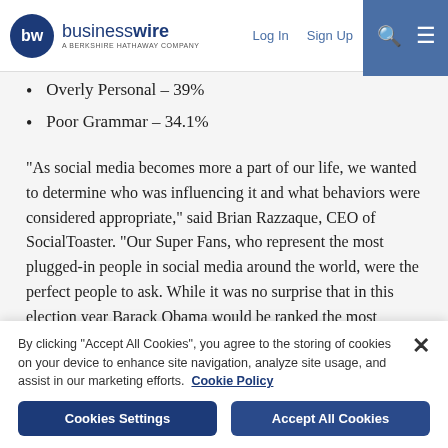businesswire — A BERKSHIRE HATHAWAY COMPANY | Log In | Sign Up
Overly Personal – 39%
Poor Grammar – 34.1%
“As social media becomes more a part of our life, we wanted to determine who was influencing it and what behaviors were considered appropriate,” said Brian Razzaque, CEO of SocialToaster. “Our Super Fans, who represent the most plugged-in people in social media around the world, were the perfect people to ask. While it was no surprise that in this election year Barack Obama would be ranked the most influential person in social media, it was surprising to us that Justin Bieber and Lady Gaga
By clicking “Accept All Cookies”, you agree to the storing of cookies on your device to enhance site navigation, analyze site usage, and assist in our marketing efforts. Cookie Policy